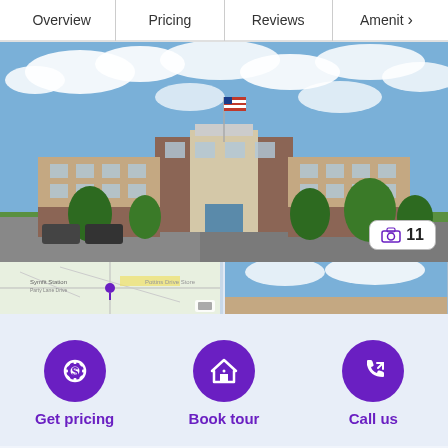Overview | Pricing | Reviews | Amenities >
[Figure (photo): Exterior photo of a large multi-story senior living or apartment building with brick and beige facade, American flag, blue sky with clouds, green landscape and parking lot in foreground. Photo badge showing camera icon and '11'.]
[Figure (map): Small map thumbnail showing location pin]
[Figure (photo): Partial exterior photo thumbnail showing sky and building]
Get pricing
Book tour
Call us